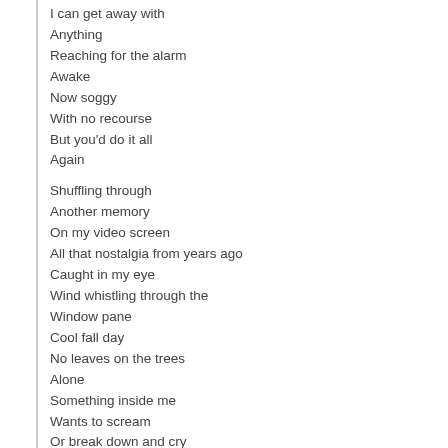I can get away with
Anything
Reaching for the alarm
Awake
Now soggy
With no recourse
But you'd do it all
Again
Shuffling through
Another memory
On my video screen
All that nostalgia from years ago
Caught in my eye
Wind whistling through the
Window pane
Cool fall day
No leaves on the trees
Alone
Something inside me
Wants to scream
Or break down and cry
Return to top
=~=~=~=~=~=~=~=~=~=~=
Letter To Above Ground America
All these people around me
I'm alone
Fading into the surrounding
I'm blown